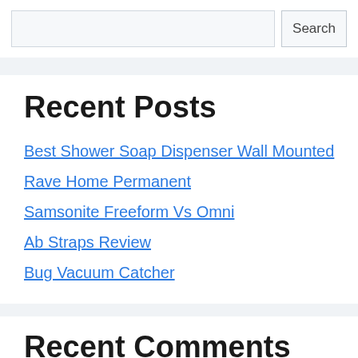Search
Recent Posts
Best Shower Soap Dispenser Wall Mounted
Rave Home Permanent
Samsonite Freeform Vs Omni
Ab Straps Review
Bug Vacuum Catcher
Recent Comments